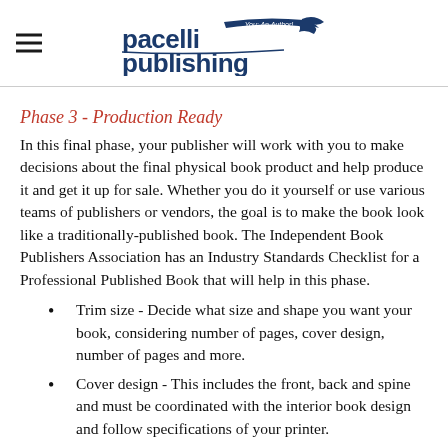Pacelli Publishing - You: An Author!
Phase 3 - Production Ready
In this final phase, your publisher will work with you to make decisions about the final physical book product and help produce it and get it up for sale. Whether you do it yourself or use various teams of publishers or vendors, the goal is to make the book look like a traditionally-published book. The Independent Book Publishers Association has an Industry Standards Checklist for a Professional Published Book that will help in this phase.
Trim size - Decide what size and shape you want your book, considering number of pages, cover design, number of pages and more.
Cover design - This includes the front, back and spine and must be coordinated with the interior book design and follow specifications of your printer.